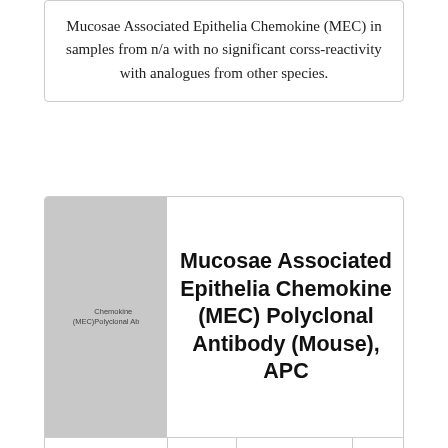Mucosae Associated Epithelia Chemokine (MEC) in samples from n/a with no significant corss-reactivity with analogues from other species.
[Figure (photo): Product image placeholder for Mucosae Associated Epithelia Chemokine (MEC) Polyclonal Antibody (Mouse), APC]
Mucosae Associated Epithelia Chemokine (MEC) Polyclonal Antibody (Mouse), APC
|  |  | EUR 340.00 |  |
|  |  | EUR |  |